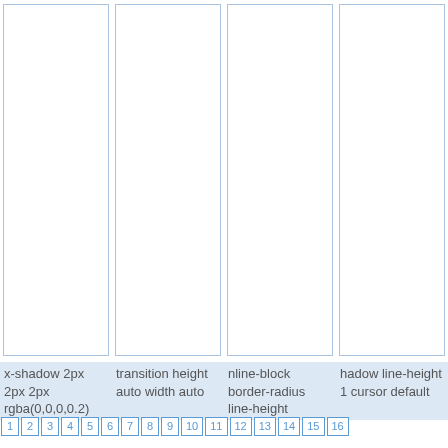[Figure (other): Four tall vertical column blocks with light blue borders arranged side by side]
x-shadow 2px 2px 2px rgba(0,0,0,0.2)
transition height auto width auto
nline-block border-radius line-height
hadow line-height 1 cursor default
1 2 3 4 5 6 7 8 9 10 11 12 13 14 15 16